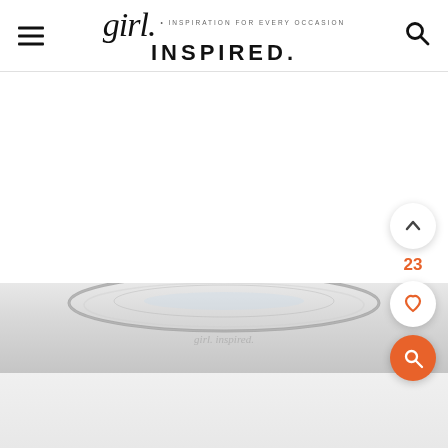girl. INSPIRED. • INSPIRATION FOR EVERY OCCASION
[Figure (photo): Close-up photo of a glass bowl or dish, showing the curved rim and transparent glass surface, partially visible at the bottom of the page. Background is light gray/silver.]
[Figure (screenshot): UI overlay showing scroll-up arrow button (circle), vote count 23 in orange, heart/like button (circle), and orange search button (circle) on the right side of the page.]